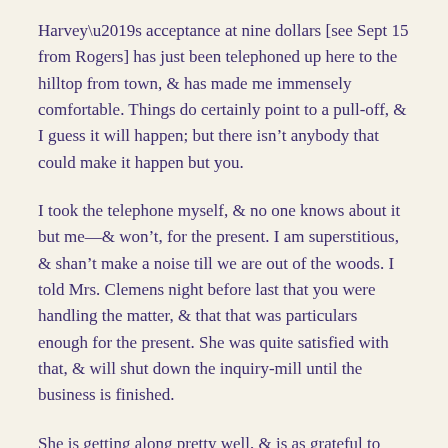Harvey’s acceptance at nine dollars [see Sept 15 from Rogers] has just been telephoned up here to the hilltop from town, & has made me immensely comfortable. Things do certainly point to a pull-off, & I guess it will happen; but there isn’t anybody that could make it happen but you.
I took the telephone myself, & no one knows about it but me—& won’t, for the present. I am superstitious, & shan’t make a noise till we are out of the woods. I told Mrs. Clemens night before last that you were handling the matter, & that that was particulars enough for the present. She was quite satisfied with that, & will shut down the inquiry-mill until the business is finished.
She is getting along pretty well, & is as grateful to you as I am.